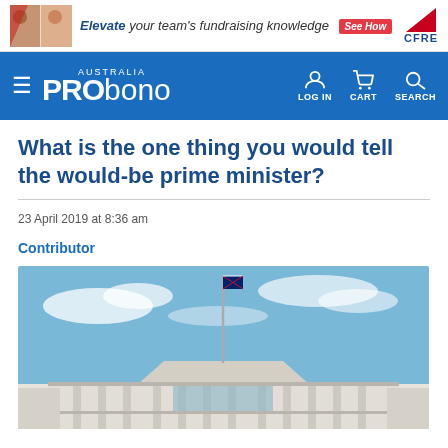[Figure (photo): Advertisement banner: 'Elevate your team's fundraising knowledge See How' with CFRE logo and photos of people]
PRO bono AUSTRALIA — navigation bar with LOG IN, CART, SEARCH
What is the one thing you would tell the would-be prime minister?
23 April 2019 at 8:36 am
Contributor
[Figure (photo): Photograph of Australian Parliament House in Canberra, showing the iconic building with flagpole and Australian flag against a blue sky with white clouds]